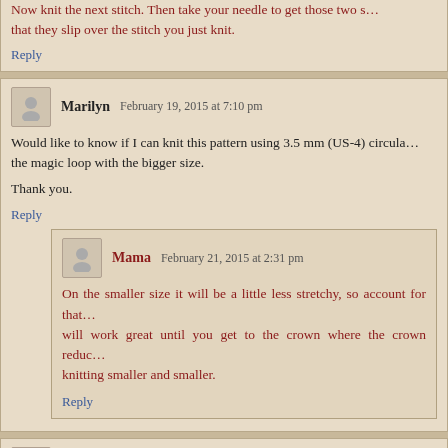Now knit the next stitch. Then take your needle to get those two s... that they slip over the stitch you just knit.
Reply
Marilyn  February 19, 2015 at 7:10 pm
Would like to know if I can knit this pattern using 3.5 mm (US-4) circula... the magic loop with the bigger size.
Thank you.
Reply
Mama  February 21, 2015 at 2:31 pm
On the smaller size it will be a little less stretchy, so account for that... will work great until you get to the crown where the crown reduc... knitting smaller and smaller.
Reply
Kathy Wright  March 4, 2015 at 9:46 pm
I have never tried to knit on DPNS or circular. I had been knitting baby...